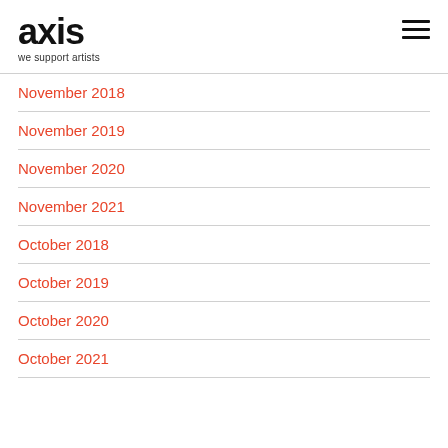axis — we support artists
November 2018
November 2019
November 2020
November 2021
October 2018
October 2019
October 2020
October 2021